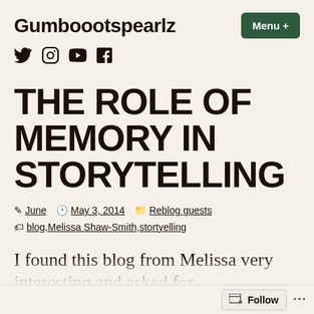Gumboootspearlz
[Figure (other): Social media icons: Twitter, Instagram, YouTube, Facebook]
THE ROLE OF MEMORY IN STORYTELLING
June · May 3, 2014 · Reblog guests · blog, Melissa Shaw-Smith, stortyelling
I found this blog from Melissa very interesting and asked for her permission to reblog...